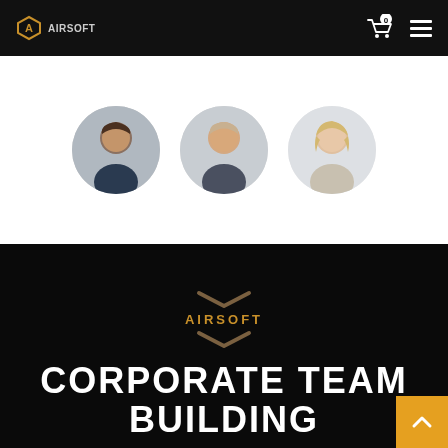Airsoft — navigation bar with logo, cart (0), and menu
[Figure (photo): Three circular portrait photos of team members on white background: left male with dark hair smiling, center male with light hair, right female with blonde hair smiling]
[Figure (logo): Airsoft double chevron / V-mark logo in gold/brown above the word AIRSOFT in gold capital letters]
CORPORATE TEAM BUILDING